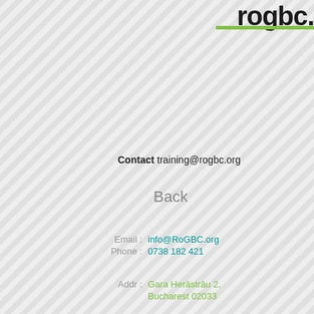[Figure (logo): RoGBC logo with bold dark text and green underline bar, top-right corner, partially cropped]
Contact training@rogbc.org
Back
Email: info@RoGBC.org
Phone: 0738 182 421
Addr: Gara Herăstrău 2, Bucharest 02033